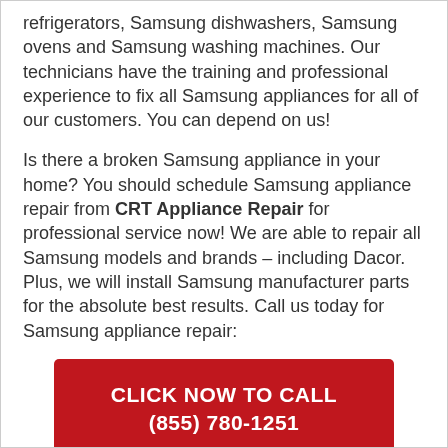refrigerators, Samsung dishwashers, Samsung ovens and Samsung washing machines. Our technicians have the training and professional experience to fix all Samsung appliances for all of our customers. You can depend on us!
Is there a broken Samsung appliance in your home? You should schedule Samsung appliance repair from CRT Appliance Repair for professional service now! We are able to repair all Samsung models and brands – including Dacor. Plus, we will install Samsung manufacturer parts for the absolute best results. Call us today for Samsung appliance repair:
[Figure (other): Red call-to-action button with white text reading CLICK NOW TO CALL (855) 780-1251]
SAMSUNG APPLIANCE REPAIR SERVICES